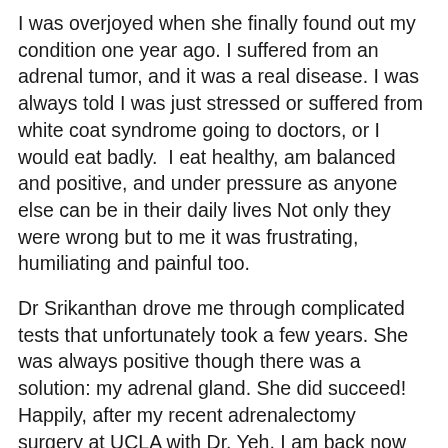I was overjoyed when she finally found out my condition one year ago. I suffered from an adrenal tumor, and it was a real disease. I was always told I was just stressed or suffered from white coat syndrome going to doctors, or I would eat badly.  I eat healthy, am balanced and positive, and under pressure as anyone else can be in their daily lives Not only they were wrong but to me it was frustrating, humiliating and painful too.
Dr Srikanthan drove me through complicated tests that unfortunately took a few years. She was always positive though there was a solution: my adrenal gland. She did succeed! Happily, after my recent adrenalectomy surgery at UCLA with Dr. Yeh, I am back now to be myself and to my low blood pressure thanks to Dr Preethi Srikanthan.
I strongly suggest to follow her in a journey through labs